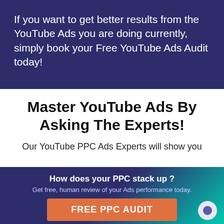If you want to get better results from the YouTube Ads you are doing currently, simply book your Free YouTube Ads Audit today!
Master YouTube Ads By Asking The Experts!
Our YouTube PPC Ads Experts will show you
How does your PPC stack up?
Get free, human review of your Ads performance today.
FREE PPC AUDIT